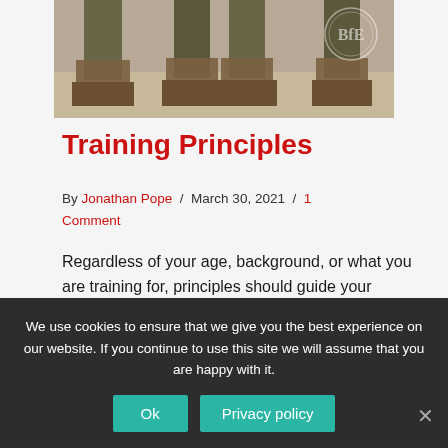[Figure (photo): Photo showing military personnel boots and lower legs, with a branded logo watermark in the top right corner.]
Training Principles
By Jonathan Pope / March 30, 2021 / 1 Comment
Regardless of your age, background, or what you are training for, principles should guide your training process. The following principles can be used to help guide your thinking when developing or considering whether a training plan is appropriate for
We use cookies to ensure that we give you the best experience on our website. If you continue to use this site we will assume that you are happy with it.